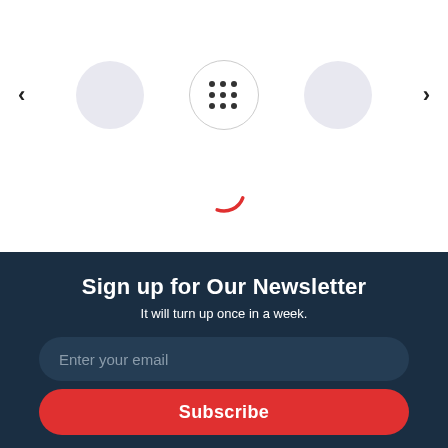[Figure (screenshot): Carousel navigation row with left arrow, circular avatar placeholder, grid dots icon button in circle outline, another avatar placeholder, and right arrow]
[Figure (other): Red spinning loader arc in the center of the white section]
Sign up for Our Newsletter
It will turn up once in a week.
Enter your email
Subscribe